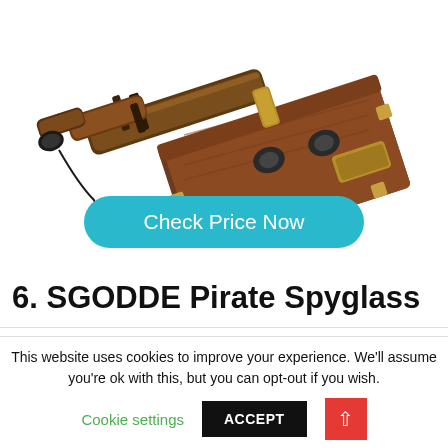[Figure (photo): Antique brass pirate spyglass telescope resting on a wooden box with metal clasps and decorative brass fittings. The telescope has multiple extending sections and a lens cap on a chain.]
Check Price Now
6. SGODDE Pirate Spyglass
This website uses cookies to improve your experience. We'll assume you're ok with this, but you can opt-out if you wish.
Cookie settings
ACCEPT